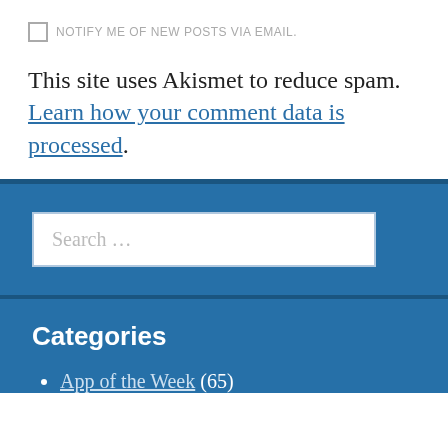NOTIFY ME OF NEW POSTS VIA EMAIL.
This site uses Akismet to reduce spam. Learn how your comment data is processed.
[Figure (screenshot): Search widget with blue background and a white search input box containing placeholder text 'Search ...']
Categories
App of the Week (65)